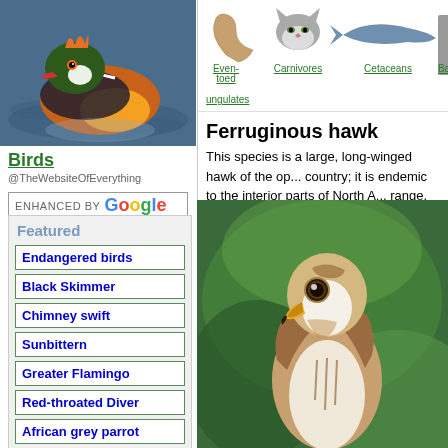[Figure (photo): Mandarin duck swimming on water — colorful orange, green, white plumage]
Birds
@TheWebsiteOfEverything
ENHANCED BY Google Search
Featured
Endangered birds
Black Skimmer
Chimney swift
Sunbittern
Greater Flamingo
Red-throated Diver
African grey parrot
Tundra swan
[Figure (illustration): Navigation icons: Even-toed ungulates (hoof), Carnivores (cat), Cetaceans (whale), Ba... (partial)]
Ferruginous hawk
This species is a large, long-winged hawk of the op... country; it is endemic to the interior parts of North A... range.
[Figure (photo): Ferruginous hawk close-up, brown and white plumage, yellow beak, on green background]